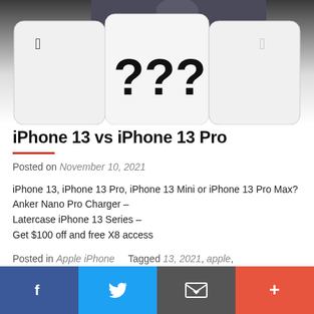[Figure (photo): Hero image showing iPhones with large '???' question marks on the screens, with a person in background; white device bezels visible on left and right edges]
iPhone 13 vs iPhone 13 Pro
Posted on November 10, 2021
iPhone 13, iPhone 13 Pro, iPhone 13 Mini or iPhone 13 Pro Max?
Anker Nano Pro Charger –
Latercase iPhone 13 Series –
Get $100 off and free X8 access
Posted in Apple iPhone   Tagged 13, 2021, apple, apple iphone, apple iphone 13, gadget, gadgets
f   Twitter   Email   +